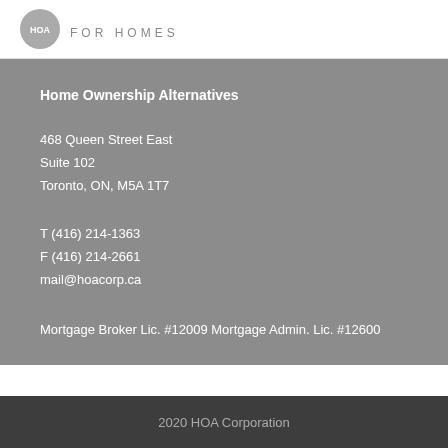[Figure (logo): HOA For Homes logo with circular graphic and text FOR HOMES]
Home Ownership Alternatives
468 Queen Street East
Suite 102
Toronto, ON, M5A 1T7
T (416) 214-1363
F (416) 214-2661
mail@hoacorp.ca
Mortgage Broker Lic. #12009 Mortgage Admin. Lic. #12600
2020 HOA Corporation